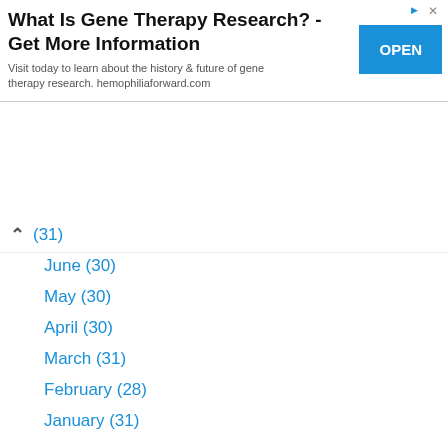[Figure (screenshot): Advertisement banner: 'What Is Gene Therapy Research? - Get More Information' with OPEN button, from hemophiliaforward.com]
^ (31)
June (30)
May (30)
April (30)
March (31)
February (28)
January (31)
2021
2020
2019
2018
2017
2016
2015
2014